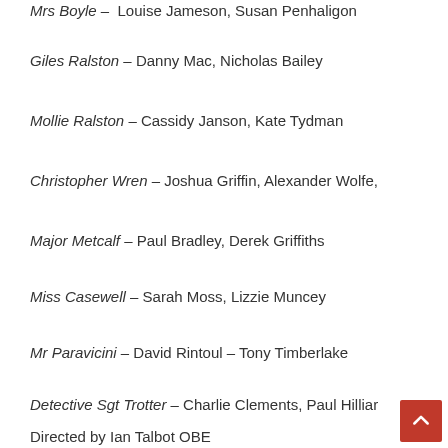Mrs Boyle – Louise Jameson, Susan Penhaligon
Giles Ralston – Danny Mac, Nicholas Bailey
Mollie Ralston – Cassidy Janson, Kate Tydman
Christopher Wren – Joshua Griffin, Alexander Wolfe,
Major Metcalf – Paul Bradley, Derek Griffiths
Miss Casewell – Sarah Moss, Lizzie Muncey
Mr Paravicini – David Rintoul – Tony Timberlake
Detective Sgt Trotter – Charlie Clements, Paul Hilliar
Directed by Ian Talbot OBE